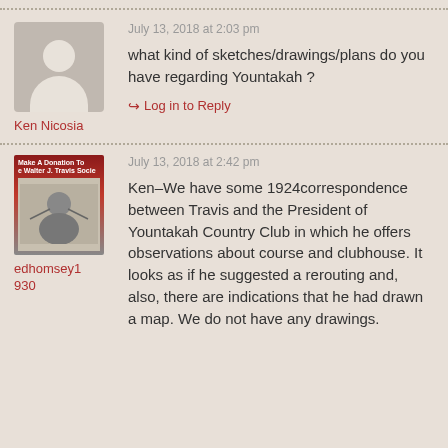July 13, 2018 at 2:03 pm
what kind of sketches/drawings/plans do you have regarding Yountakah ?
Ken Nicosia
Log in to Reply
July 13, 2018 at 2:42 pm
Ken–We have some 1924correspondence between Travis and the President of Yountakah Country Club in which he offers observations about course and clubhouse. It looks as if he suggested a rerouting and, also, there are indications that he had drawn a map. We do not have any drawings.
edhomsey1930